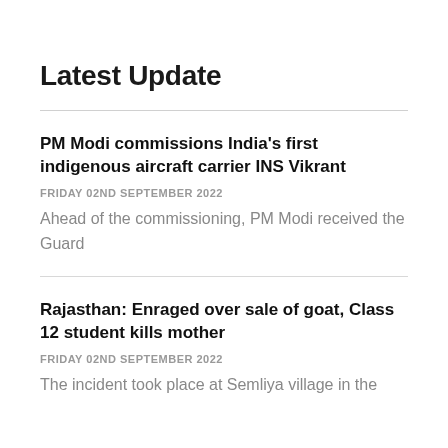Latest Update
PM Modi commissions India's first indigenous aircraft carrier INS Vikrant
FRIDAY 02ND SEPTEMBER 2022
Ahead of the commissioning, PM Modi received the Guard
Rajasthan: Enraged over sale of goat, Class 12 student kills mother
FRIDAY 02ND SEPTEMBER 2022
The incident took place at Semliya village in the